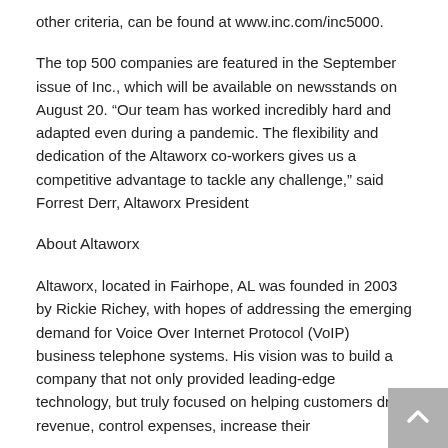other criteria, can be found at www.inc.com/inc5000.
The top 500 companies are featured in the September issue of Inc., which will be available on newsstands on August 20. “Our team has worked incredibly hard and adapted even during a pandemic. The flexibility and dedication of the Altaworx co-workers gives us a competitive advantage to tackle any challenge,” said Forrest Derr, Altaworx President
About Altaworx
Altaworx, located in Fairhope, AL was founded in 2003 by Rickie Richey, with hopes of addressing the emerging demand for Voice Over Internet Protocol (VoIP) business telephone systems. His vision was to build a company that not only provided leading-edge technology, but truly focused on helping customers drive revenue, control expenses, increase their productivity, and improve efficiency. In 2011,